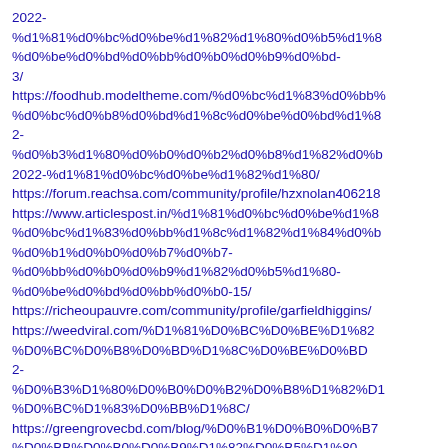2022-%d1%81%d0%bc%d0%be%d1%82%d1%80%d0%b5%d1%8..%d0%be%d0%bd%d0%bb%d0%b0%d0%b9%d0%bd-3/
https://foodhub.modeltheme.com/%d0%bc%d1%83%d0%bb%..%d0%bc%d0%b8%d0%bd%d1%8c%d0%be%d0%bd%d1%8...2-%d0%b3%d1%80%d0%b0%d0%b2%d0%b8%d1%82%d0%b...2022-%d1%81%d0%bc%d0%be%d1%82%d1%80/
https://forum.reachsa.com/community/profile/hzxnolan406218
https://www.articlespost.in/%d1%81%d0%bc%d0%be%d1%8...%d0%bc%d1%83%d0%bb%d1%8c%d1%82%d1%84%d0%b...%d0%b1%d0%b0%d0%b7%d0%b7-%d0%bb%d0%b0%d0%b9%d1%82%d0%b5%d1%80-%d0%be%d0%bd%d0%bb%d0%b0-15/
https://richeoupauvre.com/community/profile/garfieldhiggins/
https://weedviral.com/%D1%81%D0%BC%D0%BE%D1%82%..%D0%BC%D0%B8%D0%BD%D1%8C%D0%BE%D0%BD%...2-%D0%B3%D1%80%D0%B0%D0%B2%D0%B8%D1%82%D1%...%D0%BC%D1%83%D0%BB%D1%8C%D0%BC%D1%83%D0%BB%D1%8C%D0%BC/
https://greengrovecbd.com/blog/%D0%B1%D0%B0%D0%B7%..%D0%BB%D0%B0%D0%B9%D1%82%D0%B5%D1%80-%D1%81%D0%BC%D0%BE%D1%82%D1%80%D0%B5%..%D0%BE%D0%BD%D0%BB%D0%B0%D0%B9%D0%BD